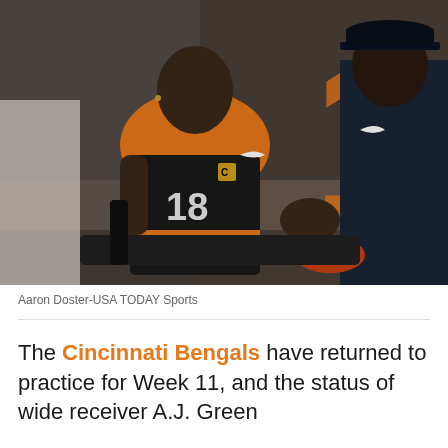[Figure (photo): A Cincinnati Bengals wide receiver in orange and black uniform sitting on what appears to be a cart, being attended to by a staff member in dark clothing. The player is wearing a jersey with a C captain patch. Background shows an orange number 1 and stadium/sideline setting.]
Aaron Doster-USA TODAY Sports
The Cincinnati Bengals have returned to practice for Week 11, and the status of wide receiver A.J. Green